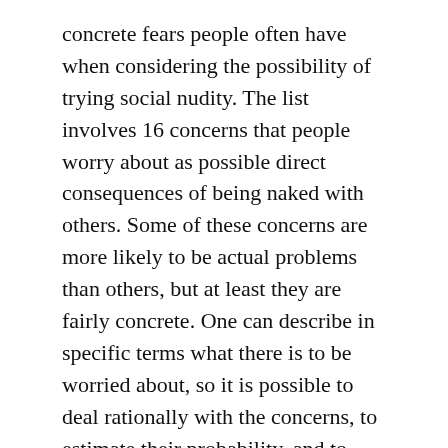concrete fears people often have when considering the possibility of trying social nudity. The list involves 16 concerns that people worry about as possible direct consequences of being naked with others. Some of these concerns are more likely to be actual problems than others, but at least they are fairly concrete. One can describe in specific terms what there is to be worried about, so it is possible to deal rationally with the concerns, to estimate their probability, and to formulate plans for dealing with them.
It's obviously more difficult, and a different sort of problem, to deal with more abstract fears.